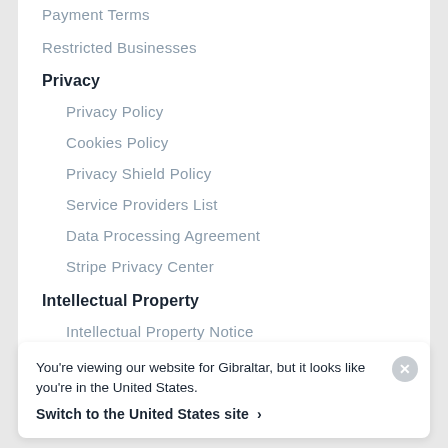Payment Terms
Restricted Businesses
Privacy
Privacy Policy
Cookies Policy
Privacy Shield Policy
Service Providers List
Data Processing Agreement
Stripe Privacy Center
Intellectual Property
Intellectual Property Notice
Marks Usage
You're viewing our website for Gibraltar, but it looks like you're in the United States.
Switch to the United States site ›